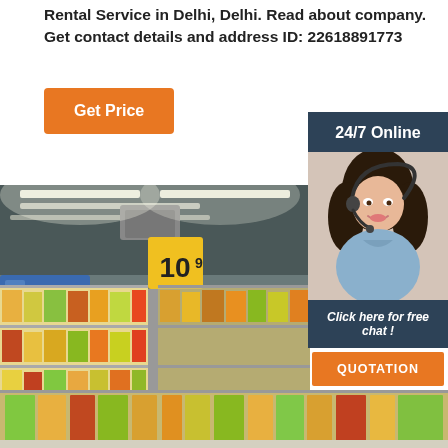Rental Service in Delhi, Delhi. Read about company. Get contact details and address ID: 22618891773
[Figure (other): Orange 'Get Price' button]
[Figure (other): 24/7 Online customer service panel with a woman wearing a headset, 'Click here for free chat!' text, and an orange QUOTATION button]
[Figure (photo): Interior of a supermarket/retail store showing shelves stocked with products, overhead fluorescent lighting, and a yellow price sign showing '109']